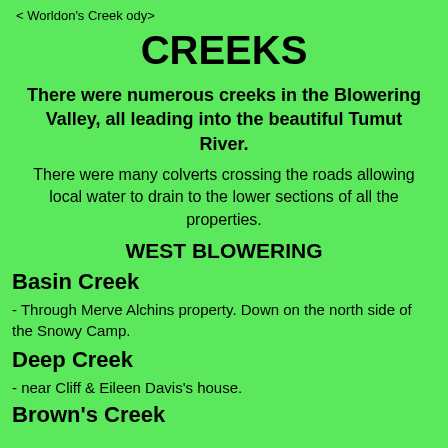< Worldon's Creek ody>
CREEKS
There were numerous creeks in the Blowering Valley, all leading into the beautiful Tumut River.
There were many colverts crossing the roads allowing local water to drain to the lower sections of all the properties.
WEST BLOWERING
Basin Creek
- Through Merve Alchins property. Down on the north side of the Snowy Camp.
Deep Creek
- near Cliff & Eileen Davis's house.
Brown's Creek